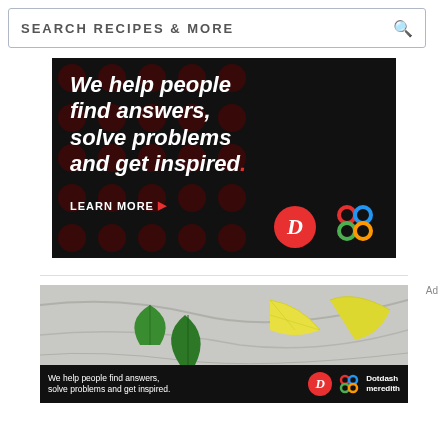[Figure (screenshot): Search bar with text 'SEARCH RECIPES & MORE' and magnifying glass icon on the right]
[Figure (infographic): Dark ad banner with red polka dot pattern. White bold italic text reads 'We help people find answers, solve problems and get inspired.' with red period. 'LEARN MORE' button with orange arrow. Dotdash 'D' red circle logo and colorful interlocking diamond/flower logo at bottom right.]
[Figure (photo): Food photo showing lemon wedges and green basil leaves on marble surface. Below is a dark banner with text 'We help people find answers, solve problems and get inspired.' with Dotdash and Meredith logos. 'Ad' label on the right.]